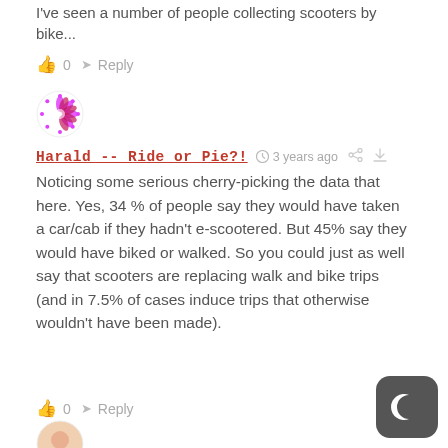I've seen a number of people collecting scooters by bike...
👍 0  → Reply
[Figure (illustration): Round avatar with pink/magenta geometric flower pattern on white background]
Harald -- Ride or Pie?!  🕐 3 years ago  share  link
Noticing some serious cherry-picking the data that here. Yes, 34 % of people say they would have taken a car/cab if they hadn't e-scootered. But 45% say they would have biked or walked. So you could just as well say that scooters are replacing walk and bike trips (and in 7.5% of cases induce trips that otherwise wouldn't have been made).
👍 0  → Reply  ∧
[Figure (illustration): Partial round avatar visible at bottom of page]
[Figure (other): Dark gray rounded square button with crescent moon icon (night mode toggle)]